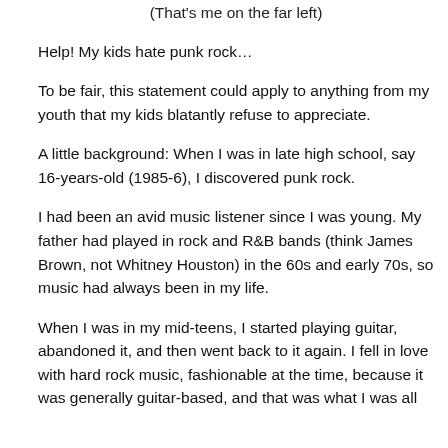(That's me on the far left)
Help! My kids hate punk rock…
To be fair, this statement could apply to anything from my youth that my kids blatantly refuse to appreciate.
A little background: When I was in late high school, say 16-years-old (1985-6), I discovered punk rock.
I had been an avid music listener since I was young. My father had played in rock and R&B bands (think James Brown, not Whitney Houston) in the 60s and early 70s, so music had always been in my life.
When I was in my mid-teens, I started playing guitar, abandoned it, and then went back to it again. I fell in love with hard rock music, fashionable at the time, because it was generally guitar-based, and that was what I was all